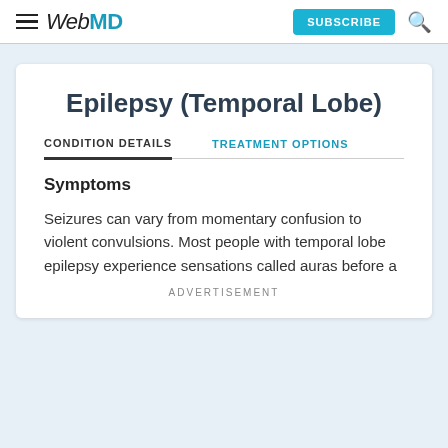WebMD | SUBSCRIBE
Epilepsy (Temporal Lobe)
CONDITION DETAILS | TREATMENT OPTIONS
Symptoms
Seizures can vary from momentary confusion to violent convulsions. Most people with temporal lobe epilepsy experience sensations called auras before a
ADVERTISEMENT